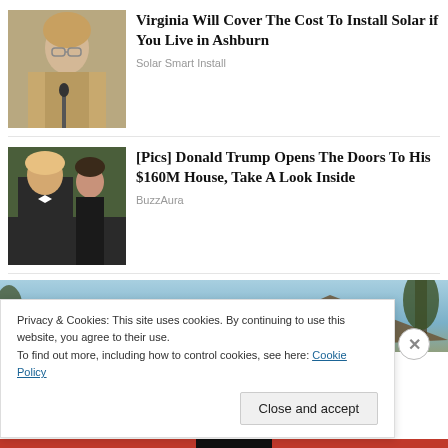[Figure (photo): Woman with short blonde hair speaking at a microphone, wearing glasses]
Virginia Will Cover The Cost To Install Solar if You Live in Ashburn
Solar Smart Install
[Figure (photo): Donald Trump in tuxedo with woman behind him]
[Pics] Donald Trump Opens The Doors To His $160M House, Take A Look Inside
BuzzAura
[Figure (photo): Rooftop with solar panels against blue sky and trees]
Privacy & Cookies: This site uses cookies. By continuing to use this website, you agree to their use.
To find out more, including how to control cookies, see here: Cookie Policy
Close and accept